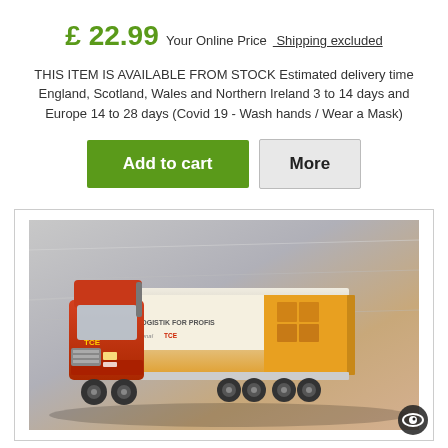£ 22.99 Your Online Price  Shipping excluded
THIS ITEM IS AVAILABLE FROM STOCK Estimated delivery time England, Scotland, Wales and Northern Ireland 3 to 14 days and Europe 14 to 28 days (Covid 19 - Wash hands / Wear a Mask)
[Figure (screenshot): Two buttons: green 'Add to cart' button and grey 'More' button]
[Figure (photo): Photo of a model toy truck - an orange/red cab with a white and yellow trailer branded 'Logistik for Profis', displayed on a reflective surface]